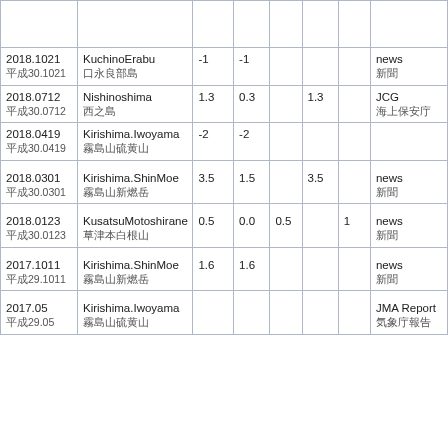| Date | Name |  |  |  |  |  | Source |
| --- | --- | --- | --- | --- | --- | --- | --- |
|  |  |  |  |  |  |  |  |
| 2018.1021
平成30.1021 | KuchinoErabu
口永良部島 | -1 | -1 |  |  |  | news
新聞 |
| 2018.0712
平成30.0712 | Nishinoshima
西之島 | 1.3 | 0.3 |  | 1.3 |  | JCG
海上保安庁 |
| 2018.0419
平成30.0419 | Kirishima.Iwoyama
霧島山硫黄山 | -2 | -2 |  |  |  |  |
| 2018.0301
平成30.0301 | Kirishima.ShinMoe
霧島山新燃岳 | 3.5 | 1.5 |  | 3.5 |  | news
新聞 |
| 2018.0123
平成30.0123 | KusatsuMotoshirane
草津本白根山 | 0.5 | 0.0 | 0.5 |  | 1 | news
新聞 |
| 2017.1011
平成29.1011 | Kirishima.ShinMoe
霧島山新燃岳 | 1.6 | 1.6 |  |  |  | news
新聞 |
| 2017.05
平成29.05 | Kirishima.Iwoyama
霧島山硫黄山 |  |  |  |  |  | JMA Report
気象庁報告 |